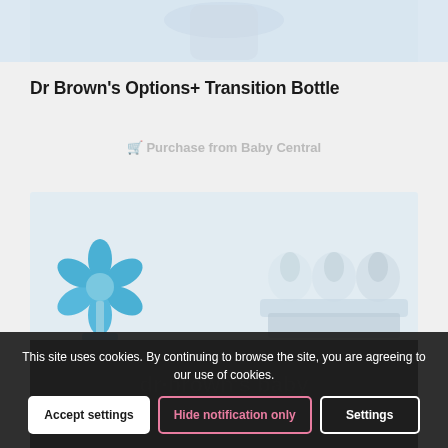[Figure (photo): Top portion of a product image showing Dr Brown's Options+ Transition Bottle against a light blue-gray background]
Dr Brown's Options+ Transition Bottle
Purchase from Baby Central
[Figure (photo): Product accessories image showing a blue flower-shaped object on the left and clear silicone bottle nipples/teats on the right, with a dark background at the bottom showing product branding]
This site uses cookies. By continuing to browse the site, you are agreeing to our use of cookies.
Accept settings
Hide notification only
Settings